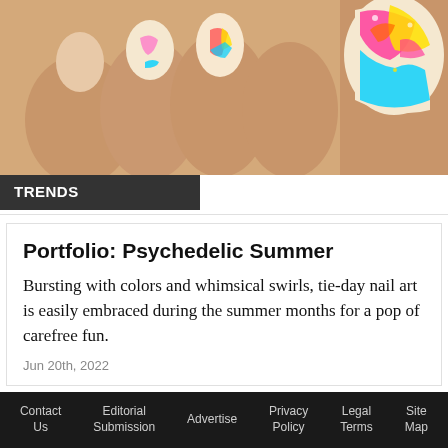[Figure (photo): Close-up photograph of hands with colorful psychedelic/tie-dye nail art in pink, yellow, blue and orange swirl patterns]
TRENDS
Portfolio: Psychedelic Summer
Bursting with colors and whimsical swirls, tie-day nail art is easily embraced during the summer months for a pop of carefree fun.
Jun 20th, 2022
[Figure (photo): Partial view of a second article card showing a person wearing sunglasses and a hat outdoors]
Contact Us   Editorial Submission   Advertise   Privacy Policy   Legal Terms   Site Map